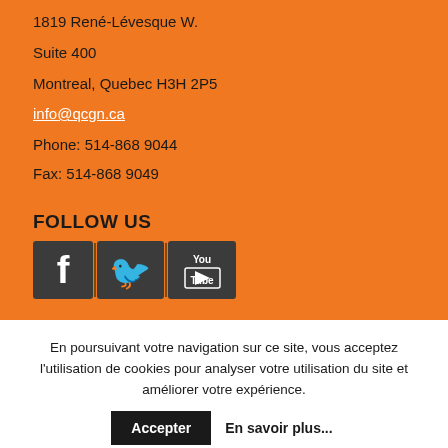1819 René-Lévesque W.
Suite 400
Montreal, Quebec H3H 2P5
info@qcgn.ca
Phone: 514-868 9044
Fax: 514-868 9049
FOLLOW US
[Figure (illustration): Social media icons: Facebook, Twitter, YouTube]
En poursuivant votre navigation sur ce site, vous acceptez l'utilisation de cookies pour analyser votre utilisation du site et améliorer votre expérience.
Accepter    En savoir plus...